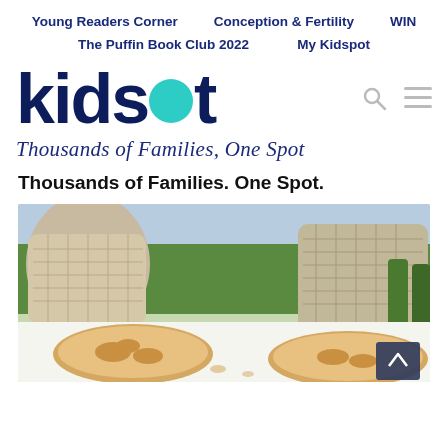Young Readers Corner   Conception & Fertility   WIN
The Puffin Book Club 2022   My Kidspot
[Figure (logo): Kidspot logo — bold dark navy lowercase text 'kidspot' with a teal circle replacing the letter 'o', and italic tagline 'Thousands of Families, One Spot' below]
Thousands of Families. One Spot.
[Figure (photo): Outdoor picnic scene with sliced bread/cake on a white surface, wicker baskets and green bottles in the background, lush greenery behind]